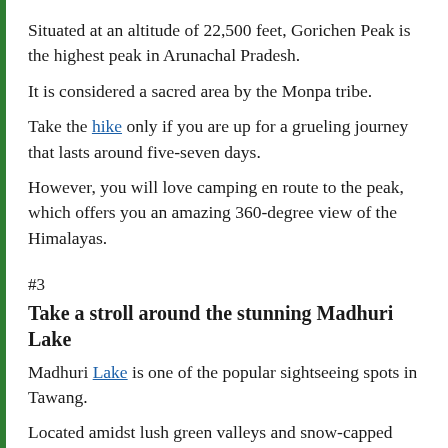Situated at an altitude of 22,500 feet, Gorichen Peak is the highest peak in Arunachal Pradesh.
It is considered a sacred area by the Monpa tribe.
Take the hike only if you are up for a grueling journey that lasts around five-seven days.
However, you will love camping en route to the peak, which offers you an amazing 360-degree view of the Himalayas.
#3
Take a stroll around the stunning Madhuri Lake
Madhuri Lake is one of the popular sightseeing spots in Tawang.
Located amidst lush green valleys and snow-capped mountains, the perfect way to enjoy the beauty of the place is to take a leisurely stroll around the lake while relishing some hot momos.